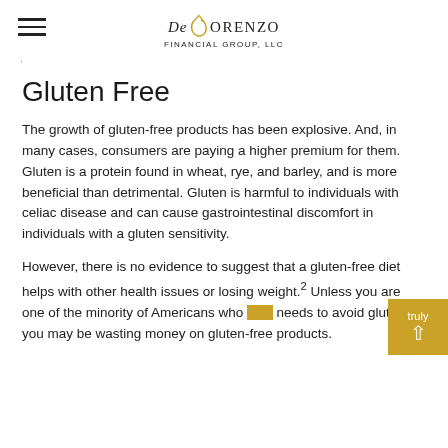DeLorenzo Financial Group, LLC
Gluten Free
The growth of gluten-free products has been explosive. And, in many cases, consumers are paying a higher premium for them. Gluten is a protein found in wheat, rye, and barley, and is more beneficial than detrimental. Gluten is harmful to individuals with celiac disease and can cause gastrointestinal discomfort in individuals with a gluten sensitivity.
However, there is no evidence to suggest that a gluten-free diet helps with other health issues or losing weight.2 Unless you are one of the minority of Americans who truly needs to avoid gluten, you may be wasting money on gluten-free products.